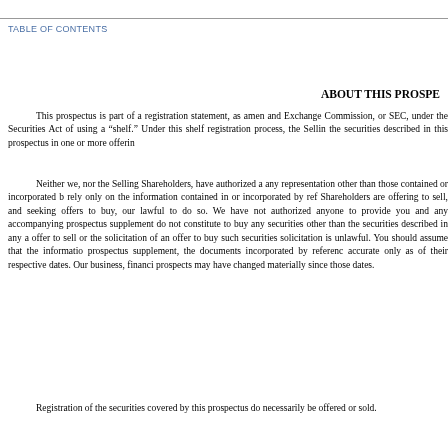TABLE OF CONTENTS
ABOUT THIS PROSPE
This prospectus is part of a registration statement, as amen and Exchange Commission, or SEC, under the Securities Act of using a "shelf." Under this shelf registration process, the Sellin the securities described in this prospectus in one or more offerin
Neither we, nor the Selling Shareholders, have authorized a any representation other than those contained or incorporated b rely only on the information contained in or incorporated by ref Shareholders are offering to sell, and seeking offers to buy, our lawful to do so. We have not authorized anyone to provide you and any accompanying prospectus supplement do not constitute to buy any securities other than the securities described in any a offer to sell or the solicitation of an offer to buy such securities solicitation is unlawful. You should assume that the informatio prospectus supplement, the documents incorporated by referenc accurate only as of their respective dates. Our business, financi prospects may have changed materially since those dates.
Registration of the securities covered by this prospectus do necessarily be offered or sold.